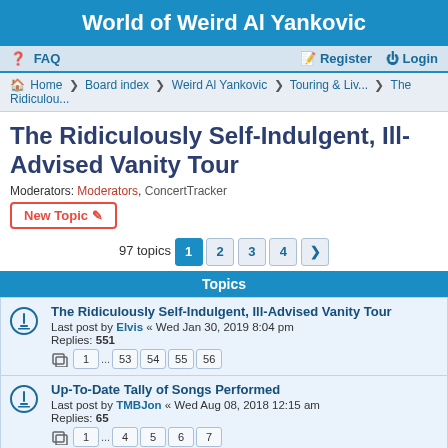World of Weird Al Yankovic
FAQ   Register   Login
Home · Board index · Weird Al Yankovic · Touring & Liv... · The Ridiculou...
The Ridiculously Self-Indulgent, Ill-Advised Vanity Tour
Moderators: Moderators, ConcertTracker
New Topic
97 topics   1   2   3   4   >
Topics
The Ridiculously Self-Indulgent, Ill-Advised Vanity Tour
Last post by Elvis « Wed Jan 30, 2019 8:04 pm
Replies: 551
1 ... 53 54 55 56
Up-To-Date Tally of Songs Performed
Last post by TMBJon « Wed Aug 08, 2018 12:15 am
Replies: 65
1 ... 4 5 6 7
2018 Setlists
Last post by Yankomaniac « Thu Jul 05, 2018 9:31 pm
Replies: 79
1 ... 5 6 7 8